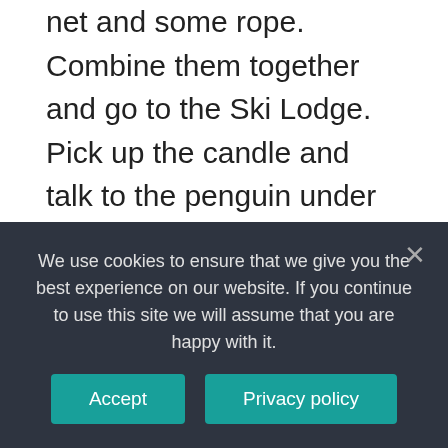net and some rope. Combine them together and go to the Ski Lodge. Pick up the candle and talk to the penguin under the couch. Go outside again, then put the trap on the floor with the candle in it.
Where do you find Herbert in Club Penguin?
He can be found in the PSA missions at the EPF Command Room and is meetable in game. Unlike real-life polar bears, Herbert hates cold weather, cannot swim and is a vegetarian. Since his first appearance, Herbert has been trying to take over Club Penguin Online and turn it
We use cookies to ensure that we give you the best experience on our website. If you continue to use this site we will assume that you are happy with it.